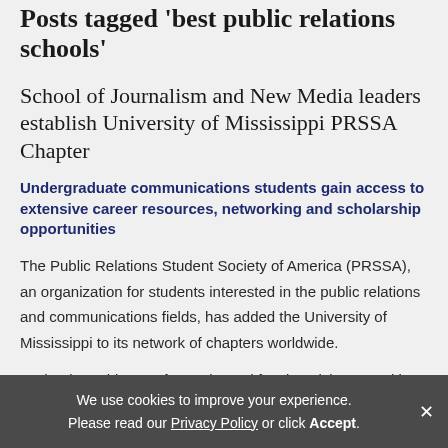Posts tagged 'best public relations schools'
School of Journalism and New Media leaders establish University of Mississippi PRSSA Chapter
Undergraduate communications students gain access to extensive career resources, networking and scholarship opportunities
The Public Relations Student Society of America (PRSSA), an organization for students interested in the public relations and communications fields, has added the University of Mississippi to its network of chapters worldwide.
Under the guidance of experienced faculty advisors, and in
We use cookies to improve your experience. Please read our Privacy Policy or click Accept.